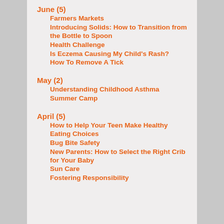June (5)
Farmers Markets
Introducing Solids: How to Transition from the Bottle to Spoon
Health Challenge
Is Eczema Causing My Child's Rash?
How To Remove A Tick
May (2)
Understanding Childhood Asthma
Summer Camp
April (5)
How to Help Your Teen Make Healthy Eating Choices
Bug Bite Safety
New Parents: How to Select the Right Crib for Your Baby
Sun Care
Fostering Responsibility